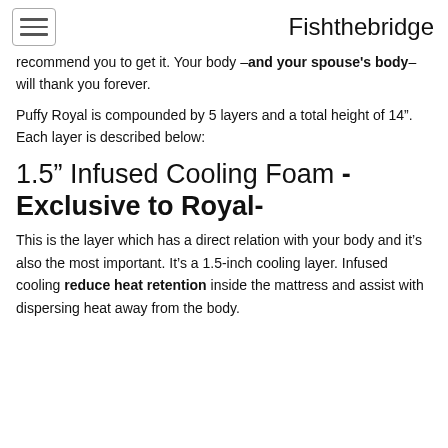Fishthebridge
recommend you to get it. Your body –and your spouse's body– will thank you forever.
Puffy Royal is compounded by 5 layers and a total height of 14". Each layer is described below:
1.5" Infused Cooling Foam -Exclusive to Royal-
This is the layer which has a direct relation with your body and it's also the most important. It's a 1.5-inch cooling layer. Infused cooling reduce heat retention inside the mattress and assist with dispersing heat away from the body.